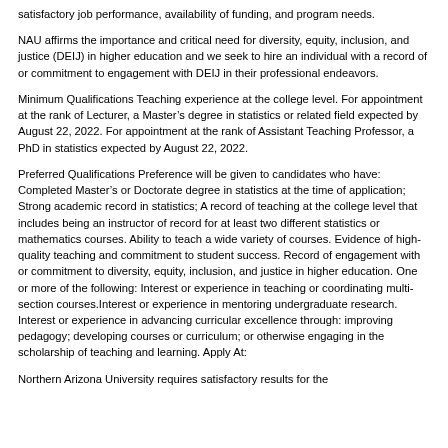satisfactory job performance, availability of funding, and program needs.
NAU affirms the importance and critical need for diversity, equity, inclusion, and justice (DEIJ) in higher education and we seek to hire an individual with a record of or commitment to engagement with DEIJ in their professional endeavors.
Minimum Qualifications Teaching experience at the college level. For appointment at the rank of Lecturer, a Master’s degree in statistics or related field expected by August 22, 2022. For appointment at the rank of Assistant Teaching Professor, a PhD in statistics expected by August 22, 2022.
Preferred Qualifications Preference will be given to candidates who have: Completed Master’s or Doctorate degree in statistics at the time of application; Strong academic record in statistics; A record of teaching at the college level that includes being an instructor of record for at least two different statistics or mathematics courses. Ability to teach a wide variety of courses. Evidence of high-quality teaching and commitment to student success. Record of engagement with or commitment to diversity, equity, inclusion, and justice in higher education. One or more of the following: Interest or experience in teaching or coordinating multi-section courses.Interest or experience in mentoring undergraduate research. Interest or experience in advancing curricular excellence through: improving pedagogy; developing courses or curriculum; or otherwise engaging in the scholarship of teaching and learning. Apply At:
Northern Arizona University requires satisfactory results for the